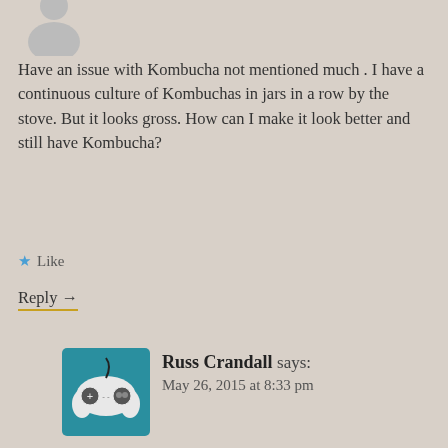[Figure (illustration): Gray circular avatar placeholder at the top left of the first comment]
Have an issue with Kombucha not mentioned much . I have a continuous culture of Kombuchas in jars in a row by the stove. But it looks gross. How can I make it look better and still have Kombucha?
★ Like
Reply →
[Figure (illustration): Teal/blue-green square avatar with a video game controller icon (gamepad) for user Russ Crandall]
Russ Crandall says: May 26, 2015 at 8:33 pm
Ardys, the only thing I can think of is a fermentation cover, like these: http://store.kombuchakamp.com/Fermentation-Covers/
Personally, we keep ours stowed away in a dark place so people can't see it, but I don't have a continuous brew setup. Hope that helps!